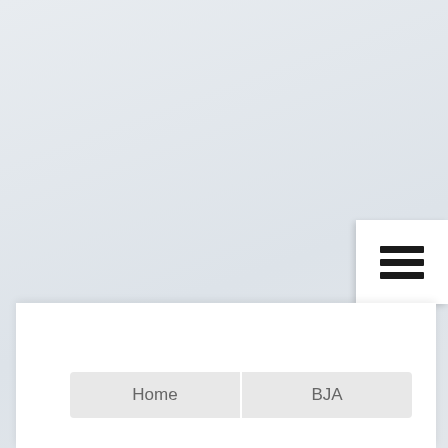[Figure (screenshot): Screenshot of a government website (BJA) showing a light gray-blue background with a white hamburger menu button in the upper right area, and a white content panel at the bottom with navigation tabs labeled 'Home' and 'BJA'.]
Home
BJA